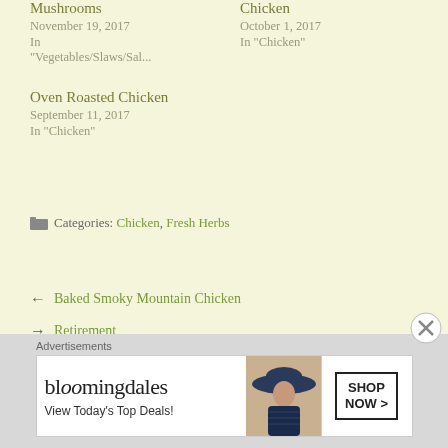Mushrooms
November 19, 2017
In "Vegetables/Slaws/Sal..."
Chicken
October 1, 2017
In "Chicken"
Oven Roasted Chicken
September 11, 2017
In "Chicken"
Categories: Chicken, Fresh Herbs
← Baked Smoky Mountain Chicken
→ Retirement
Advertisements
[Figure (other): Bloomingdales advertisement banner with logo, 'View Today's Top Deals!' tagline, woman in hat photo, and 'SHOP NOW >' button]